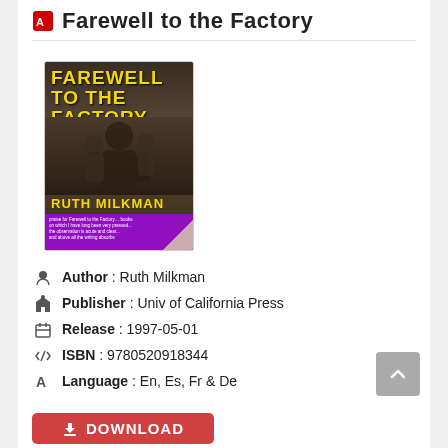Farewell to the Factory
[Figure (photo): Book cover of 'Farewell to the Factory' by Ruth Milkman, published by Univ of California Press. Yellow bold title text on dark sepia background with crowd photo, purple subtitle band, author name in yellow, and purple blurb section at bottom.]
Author : Ruth Milkman
Publisher : Univ of California Press
Release : 1997-05-01
ISBN : 9780520918344
Language : En, Es, Fr & De